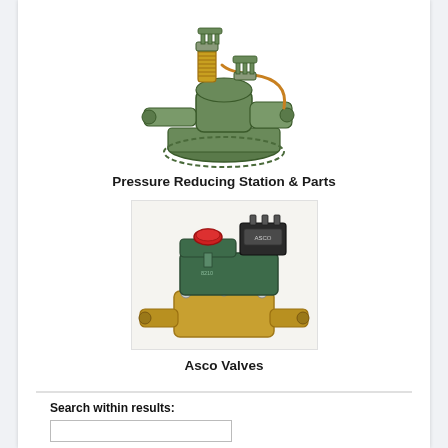[Figure (photo): Pressure reducing station industrial valve assembly, green cast iron body with copper tubing and spring mechanism]
Pressure Reducing Station & Parts
[Figure (photo): Asco solenoid valve with green body, red manual override button, black coil/connector on top, and brass body with threaded pipe fittings at bottom]
Asco Valves
Search within results: